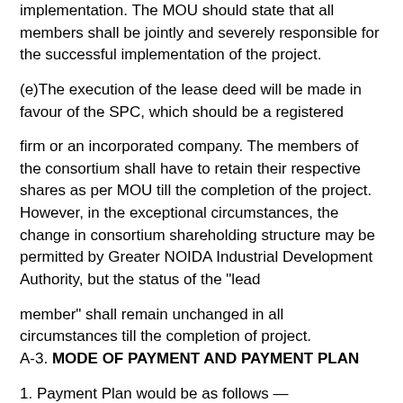implementation. The MOU should state that all members shall be jointly and severely responsible for the successful implementation of the project.
(e)The execution of the lease deed will be made in favour of the SPC, which should be a registered
firm or an incorporated company. The members of the consortium shall have to retain their respective shares as per MOU till the completion of the project. However, in the exceptional circumstances, the change in consortium shareholding structure may be permitted by Greater NOIDA Industrial Development Authority, but the status of the "lead
member" shall remain unchanged in all circumstances till the completion of project.
A-3. MODE OF PAYMENT AND PAYMENT PLAN
1. Payment Plan would be as follows —